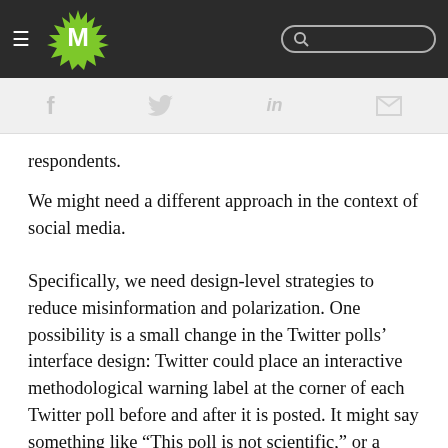M [logo] [search bar]
[Figure (screenshot): Website navigation bar with hamburger menu, green M logo, and search box on dark background]
[Figure (infographic): Social sharing icons: f (facebook), bird (twitter), in (linkedin), envelope (email) on light gray bar]
respondents.
We might need a different approach in the context of social media.
Specifically, we need design-level strategies to reduce misinformation and polarization. One possibility is a small change in the Twitter polls' interface design: Twitter could place an interactive methodological warning label at the corner of each Twitter poll before and after it is posted. It might say something like “This poll is not scientific,” or a clickable box saying “This poll’s results are NOT systematic, representative and valid,” perhaps including a link to more detailed information elsewhere.